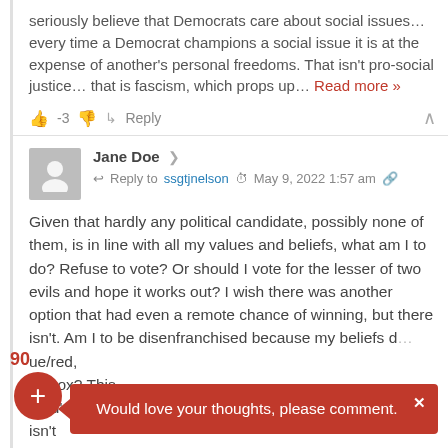seriously believe that Democrats care about social issues… every time a Democrat champions a social issue it is at the expense of another's personal freedoms. That isn't pro-social justice… that is fascism, which props up… Read more »
-3  ↳ Reply  ∧
Jane Doe  ↩ Reply to ssgtjnelson  ⏱ May 9, 2022 1:57 am  🔗
Given that hardly any political candidate, possibly none of them, is in line with all my values and beliefs, what am I to do? Refuse to vote? Or should I vote for the lesser of two evils and hope it works out? I wish there was another option that had even a remote chance of winning, but there isn't. Am I to be disenfranchised because my beliefs d… ue/red, m… ox? This "you're either all in for your side against us" thing isn't
Would love your thoughts, please comment.